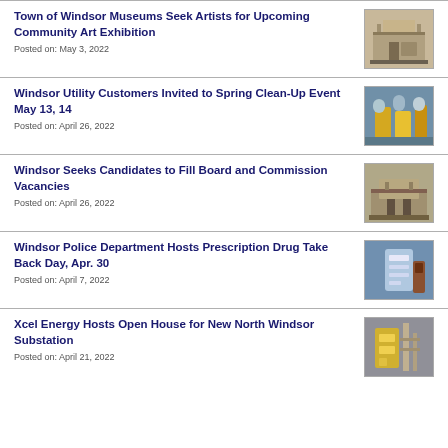Town of Windsor Museums Seek Artists for Upcoming Community Art Exhibition
Posted on: May 3, 2022
[Figure (photo): Photo of a historic museum building exterior]
Windsor Utility Customers Invited to Spring Clean-Up Event May 13, 14
Posted on: April 26, 2022
[Figure (photo): Photo of utility workers in safety vests]
Windsor Seeks Candidates to Fill Board and Commission Vacancies
Posted on: April 26, 2022
[Figure (photo): Photo of a town building exterior]
Windsor Police Department Hosts Prescription Drug Take Back Day, Apr. 30
Posted on: April 7, 2022
[Figure (photo): Photo of prescription drug take back box]
Xcel Energy Hosts Open House for New North Windsor Substation
Posted on: April 21, 2022
[Figure (photo): Photo of Xcel Energy worker at substation]